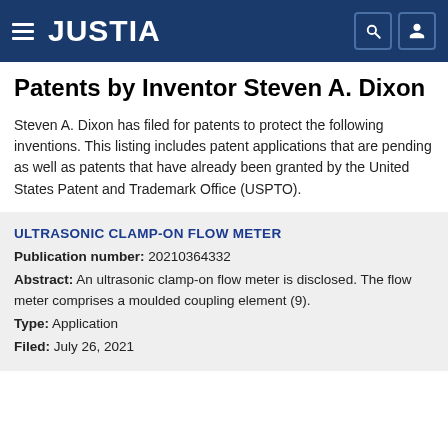JUSTIA
Patents by Inventor Steven A. Dixon
Steven A. Dixon has filed for patents to protect the following inventions. This listing includes patent applications that are pending as well as patents that have already been granted by the United States Patent and Trademark Office (USPTO).
ULTRASONIC CLAMP-ON FLOW METER
Publication number: 20210364332
Abstract: An ultrasonic clamp-on flow meter is disclosed. The flow meter comprises a moulded coupling element (9).
Type: Application
Filed: July 26, 2021